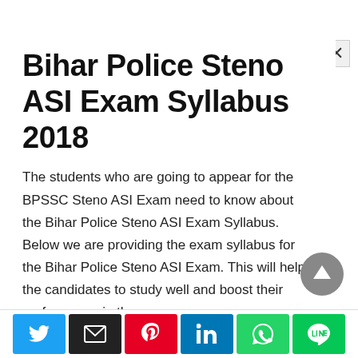Bihar Police Steno ASI Exam Syllabus 2018
The students who are going to appear for the BPSSC Steno ASI Exam need to know about the Bihar Police Steno ASI Exam Syllabus. Below we are providing the exam syllabus for the Bihar Police Steno ASI Exam. This will help the candidates to study well and boost their performance in the exam.